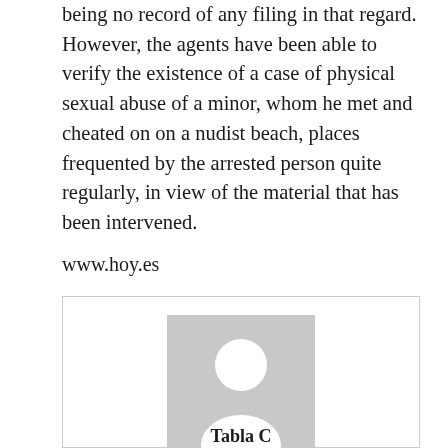being no record of any filing in that regard. However, the agents have been able to verify the existence of a case of physical sexual abuse of a minor, whom he met and cheated on on a nudist beach, places frequented by the arrested person quite regularly, in view of the material that has been intervened.
www.hoy.es
[Figure (other): A placeholder avatar image showing a generic person silhouette in grey, inside a bordered card box. Partially visible bold text at the bottom of the card appears to be a name or heading.]